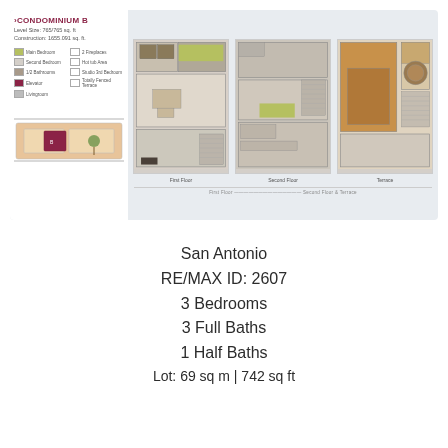[Figure (engineering-diagram): Condominium B floor plan brochure showing sidebar with legend and site map, plus three floor plan views: First Floor, Second Floor, and Terrace]
San Antonio
RE/MAX ID: 2607
3 Bedrooms
3 Full Baths
1 Half Baths
Lot: 69 sq m | 742 sq ft